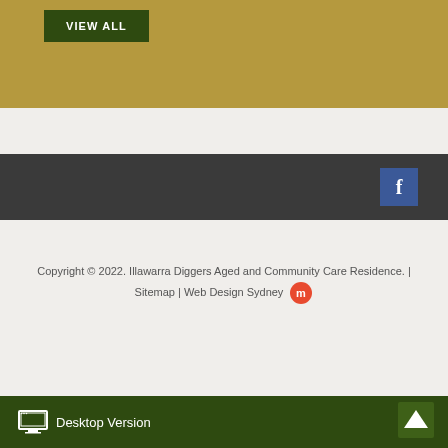VIEW ALL
[Figure (other): Dark gray social bar with Facebook icon (blue square with white f) on the right side]
Copyright © 2022. Illawarra Diggers Aged and Community Care Residence. | Sitemap | Web Design Sydney
Desktop Version